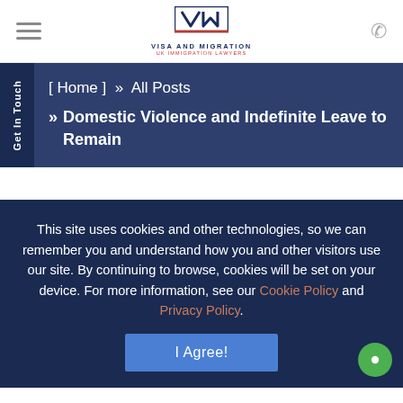[Figure (logo): VM Visa and Migration UK Immigration Lawyers logo]
[ Home ]  »  All Posts
»  Domestic Violence and Indefinite Leave to Remain
This site uses cookies and other technologies, so we can remember you and understand how you and other visitors use our site. By continuing to browse, cookies will be set on your device. For more information, see our Cookie Policy and Privacy Policy.
I Agree!